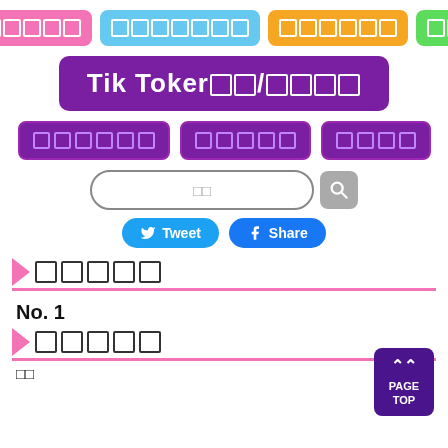[Figure (screenshot): Navigation bar with four colored buttons (pink, blue, orange, green) each containing white placeholder squares]
Tik Toker□□/□□□□
[Figure (screenshot): Secondary navigation bar with three purple buttons containing white placeholder squares]
[Figure (screenshot): Search bar with placeholder text and gray search icon button]
[Figure (screenshot): Tweet and Share social media buttons]
□□□□□
No. 1
□□□□□
□□